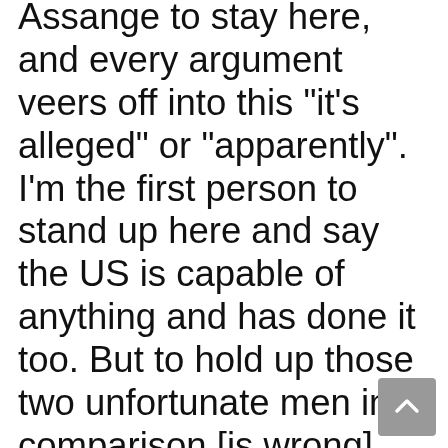Assange to stay here, and every argument veers off into this "it's alleged" or "apparently". I'm the first person to stand up here and say the US is capable of anything and has done it too. But to hold up those two unfortunate men in comparison [is wrong]. The more Assange hangs out in that embassy and keeps this rolling on the more it becomes the Julian Assange roadshow. What we need to be